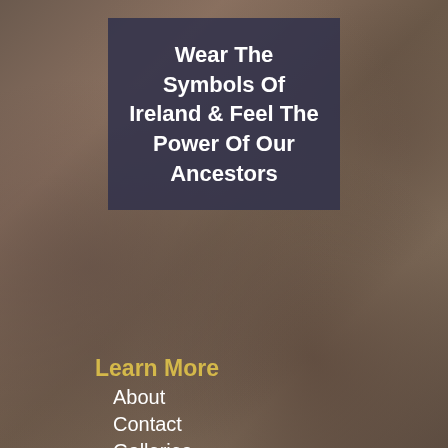[Figure (photo): Rocky stone texture background, blurred, in brown, grey and reddish tones]
Wear The Symbols Of Ireland & Feel The Power Of Our Ancestors
Learn More
About
Contact
Galleries
Press
Shows
Symbolism